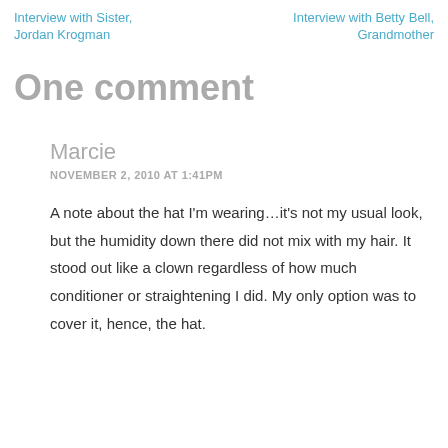Interview with Sister, Jordan Krogman
Interview with Betty Bell, Grandmother
One comment
Marcie
NOVEMBER 2, 2010 AT 1:41PM
A note about the hat I'm wearing…it's not my usual look, but the humidity down there did not mix with my hair. It stood out like a clown regardless of how much conditioner or straightening I did. My only option was to cover it, hence, the hat.